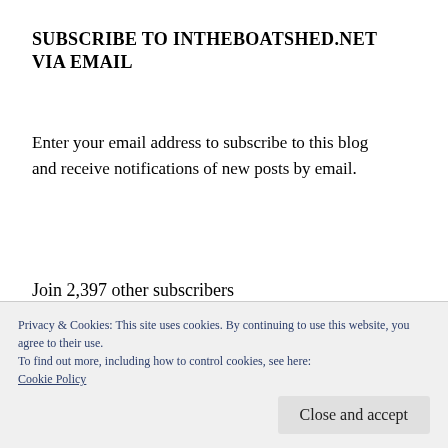SUBSCRIBE TO INTHEBOATSHED.NET VIA EMAIL
Enter your email address to subscribe to this blog and receive notifications of new posts by email.
Join 2,397 other subscribers
Email Address
Privacy & Cookies: This site uses cookies. By continuing to use this website, you agree to their use.
To find out more, including how to control cookies, see here:
Cookie Policy
Close and accept